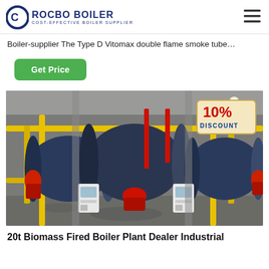ROCBO BOILER — COST-EFFECTIVE BOILER SUPPLIER
Boiler-supplier The Type D Vitomax double flame smoke tube…
Get Price
[Figure (photo): Industrial boiler room with three large cylindrical fire-tube steam boilers in a row, connected by yellow piping, with control panels and red burner components. A 10% DISCOUNT badge overlaid in the top-right corner.]
20t Biomass Fired Boiler Plant Dealer Industrial